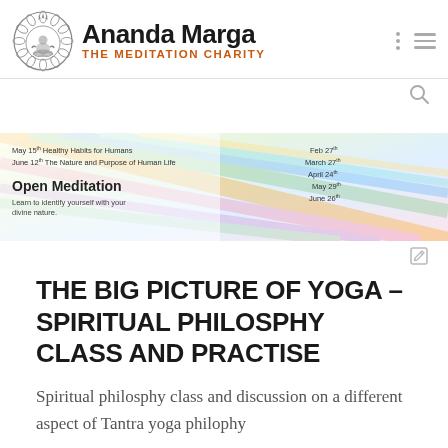[Figure (logo): Ananda Marga logo: circular mandala/lotus emblem with seated figure, accompanied by bold text 'Ananda Marga' and orange subtitle 'THE MEDITATION CHARITY']
[Figure (infographic): Colorful pastel banner with yoga/meditation class schedule listing dates: May 15th Healthy Habits for Humans, June 12th The Nature and Purpose of Human Life, Open Meditation - Learn to identify yourself with your divine nature. Dates on right: Feb 27th, March 27th, April 24th, May 29th, June 26th]
THE BIG PICTURE OF YOGA – SPIRITUAL PHILOSPHY CLASS AND PRACTISE
Spiritual philosphy class and discussion on a different aspect of Tantra yoga philophy